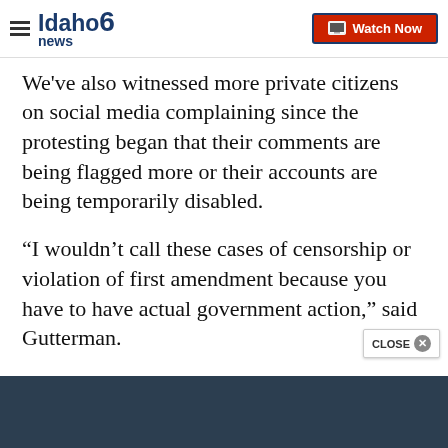Idaho news 6 | Watch Now
We've also witnessed more private citizens on social media complaining since the protesting began that their comments are being flagged more or their accounts are being temporarily disabled.
“I wouldn’t call these cases of censorship or violation of first amendment because you have to have actual government action,” said Gutterman.
Gutterman also said social media companies have a legal right to flag or moderate any content, but they've operated for the most part under the principals of f